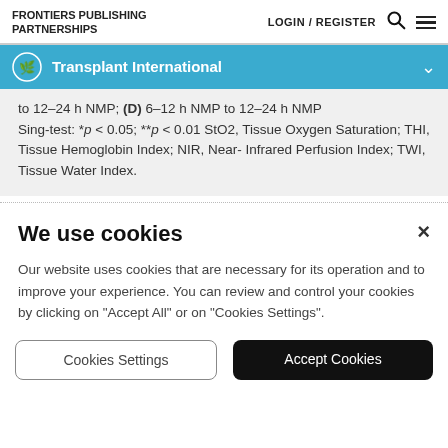FRONTIERS PUBLISHING PARTNERSHIPS | LOGIN / REGISTER
Transplant International
to 12–24 h NMP; (D) 6–12 h NMP to 12–24 h NMP Sing-test: *p < 0.05; **p < 0.01 StO2, Tissue Oxygen Saturation; THI, Tissue Hemoglobin Index; NIR, Near-Infrared Perfusion Index; TWI, Tissue Water Index.
We use cookies
Our website uses cookies that are necessary for its operation and to improve your experience. You can review and control your cookies by clicking on "Accept All" or on "Cookies Settings".
Cookies Settings | Accept Cookies